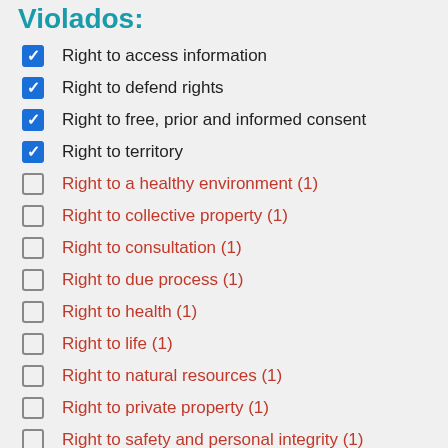Violados:
Right to access information
Right to defend rights
Right to free, prior and informed consent
Right to territory
Right to a healthy environment (1)
Right to collective property (1)
Right to consultation (1)
Right to due process (1)
Right to health (1)
Right to life (1)
Right to natural resources (1)
Right to private property (1)
Right to safety and personal integrity (1)
Right to self-determination (1)
Right to water (1)